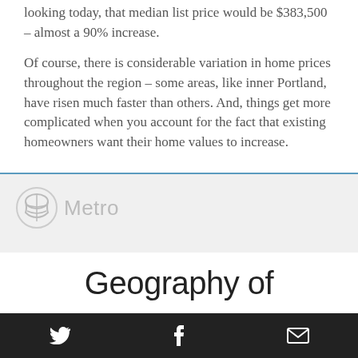looking today, that median list price would be $383,500 – almost a 90% increase.
Of course, there is considerable variation in home prices throughout the region – some areas, like inner Portland, have risen much faster than others. And, things get more complicated when you account for the fact that existing homeowners want their home values to increase.
[Figure (logo): Metro regional government logo with icon and text 'Metro' on a light gray background]
Geography of